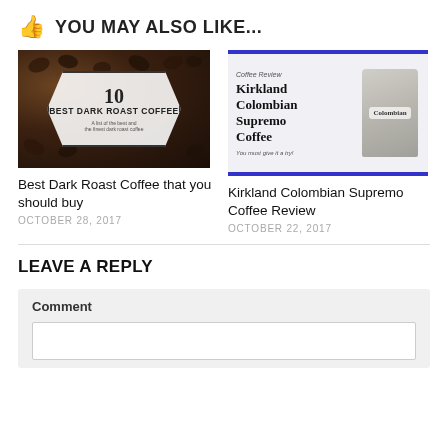👍 YOU MAY ALSO LIKE...
[Figure (photo): Thumbnail image for '10 Best Dark Roast Coffee' article — dark coffee beans background with a white hexagonal badge reading '10 Best Dark Roast Coffee']
[Figure (photo): Thumbnail image for 'Kirkland Colombian Supremo Coffee Review' — white/light blue bordered card with bold text title and coffee bag image on right]
Best Dark Roast Coffee that you should buy
Kirkland Colombian Supremo Coffee Review
OCTOBER 28, 2017
OCTOBER 22, 2017
LEAVE A REPLY
Comment